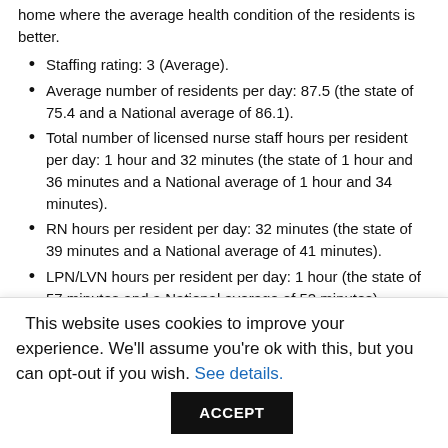home where the average health condition of the residents is better.
Staffing rating: 3 (Average).
Average number of residents per day: 87.5 (the state of 75.4 and a National average of 86.1).
Total number of licensed nurse staff hours per resident per day: 1 hour and 32 minutes (the state of 1 hour and 36 minutes and a National average of 1 hour and 34 minutes).
RN hours per resident per day: 32 minutes (the state of 39 minutes and a National average of 41 minutes).
LPN/LVN hours per resident per day: 1 hour (the state of 57 minutes and a National average of 52 minutes).
Nurse aide hours per resident per day: 1 hour and 47 minutes (the state of 2 hours and 4 minutes and a National average of 2 hours and 18 minutes).
Physical therapist staff hours per resident per day: 6 minutes
This website uses cookies to improve your experience. We'll assume you're ok with this, but you can opt-out if you wish. See details. ACCEPT